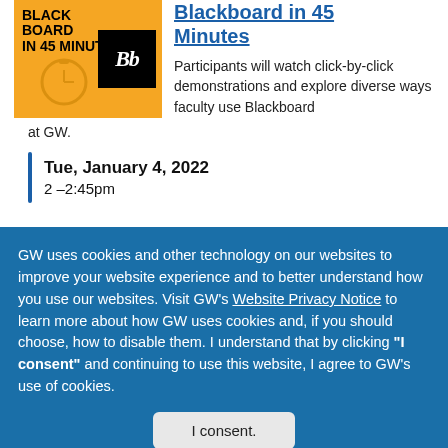[Figure (illustration): Orange square image with text 'BLACKBOARD IN 45 MINUTES' and a stopwatch icon, with a black Blackboard (Bb) logo box in the bottom right]
Blackboard in 45 Minutes
Participants will watch click-by-click demonstrations and explore diverse ways faculty use Blackboard at GW.
Tue, January 4, 2022
2 –2:45pm
GW uses cookies and other technology on our websites to improve your website experience and to better understand how you use our websites. Visit GW's Website Privacy Notice to learn more about how GW uses cookies and, if you should choose, how to disable them. I understand that by clicking "I consent" and continuing to use this website, I agree to GW's use of cookies.